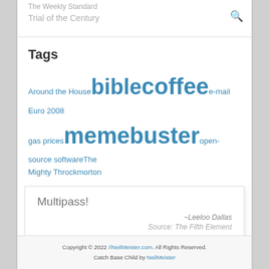The Weekly Standard – Trial of the Century
Tags
Around the House  bible  coffee  e-mail  Euro 2008  gas prices  meme  buster  open-source software  The Mighty Throckmorton
Multipass!
–Leeloo Dallas
Source: The Fifth Element
Copyright © 2022 //NeilMeister.com. All Rights Reserved. Catch Base Child by NeilMeister